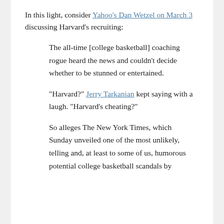In this light, consider Yahoo's Dan Wetzel on March 3 discussing Harvard's recruiting:
The all-time [college basketball] coaching rogue heard the news and couldn't decide whether to be stunned or entertained.
"Harvard?" Jerry Tarkanian kept saying with a laugh. "Harvard's cheating?"
So alleges The New York Times, which Sunday unveiled one of the most unlikely, telling and, at least to some of us, humorous potential college basketball scandals by